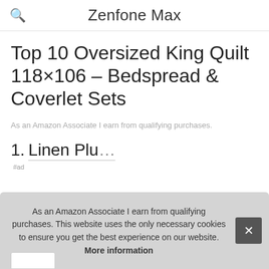Zenfone Max
Top 10 Oversized King Quilt 118×106 – Bedspread & Coverlet Sets
As an Amazon Associate I earn from qualifying purchases.
1. Linen Plu…
#ad
As an Amazon Associate I earn from qualifying purchases. This website uses the only necessary cookies to ensure you get the best experience on our website. More information